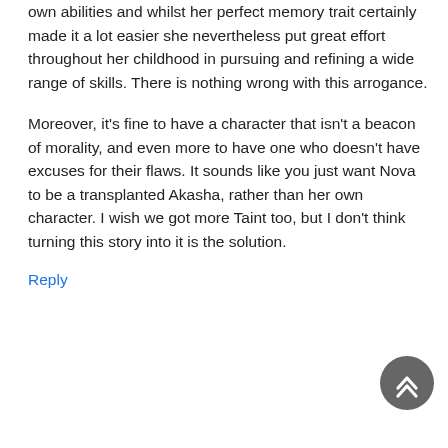own abilities and whilst her perfect memory trait certainly made it a lot easier she nevertheless put great effort throughout her childhood in pursuing and refining a wide range of skills. There is nothing wrong with this arrogance.
Moreover, it's fine to have a character that isn't a beacon of morality, and even more to have one who doesn't have excuses for their flaws. It sounds like you just want Nova to be a transplanted Akasha, rather than her own character. I wish we got more Taint too, but I don't think turning this story into it is the solution.
Reply